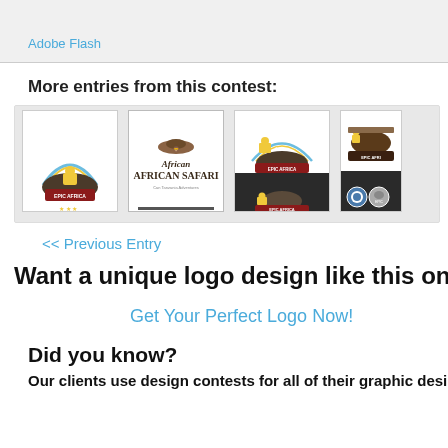Adobe Flash
More entries from this contest:
[Figure (logo): Four thumbnail logo cards for Epic Africa Safari contest entries. First card shows Epic Africa badge logo with lion and rainbow. Second card shows handwritten 'African Safari' text logo. Third card shows Epic Africa badge logo in two versions (color and dark background). Fourth card (partially visible) shows monochrome Epic Africa logo variants.]
<< Previous Entry
Want a unique logo design like this one?
Get Your Perfect Logo Now!
Did you know?
Our clients use design contests for all of their graphic desi